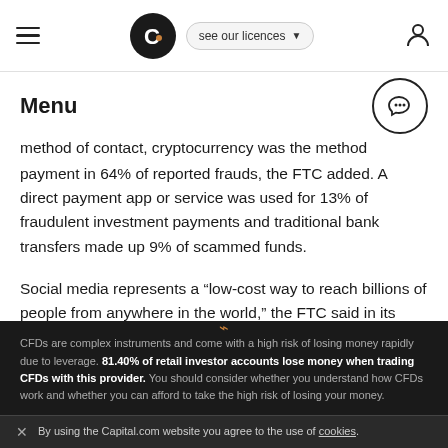Menu | Capital.com | see our licences
Menu
method of contact, cryptocurrency was the method of payment in 64% of reported frauds, the FTC added. A direct payment app or service was used for 13% of fraudulent investment payments and traditional bank transfers made up 9% of scammed funds.
Social media represents a “low-cost way to reach billions of people from anywhere in the world,” the FTC said in its Consumer Protection Data Spotlight. “It’s easy to manufacture a fake persona, or scammers can hack into
CFDs are complex instruments and come with a high risk of losing money rapidly due to leverage. 81.40% of retail investor accounts lose money when trading CFDs with this provider. You should consider whether you understand how CFDs work and whether you can afford to take the high risk of losing your money.
By using the Capital.com website you agree to the use of cookies.